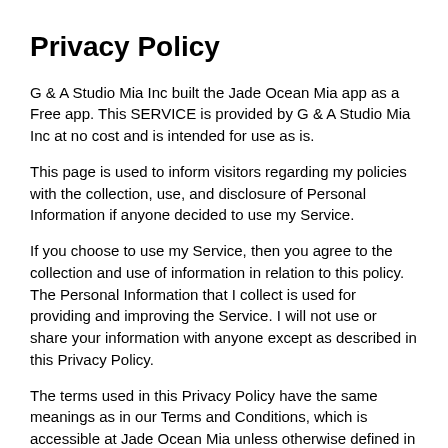Privacy Policy
G & A Studio Mia Inc built the Jade Ocean Mia app as a Free app. This SERVICE is provided by G & A Studio Mia Inc at no cost and is intended for use as is.
This page is used to inform visitors regarding my policies with the collection, use, and disclosure of Personal Information if anyone decided to use my Service.
If you choose to use my Service, then you agree to the collection and use of information in relation to this policy. The Personal Information that I collect is used for providing and improving the Service. I will not use or share your information with anyone except as described in this Privacy Policy.
The terms used in this Privacy Policy have the same meanings as in our Terms and Conditions, which is accessible at Jade Ocean Mia unless otherwise defined in this Privacy Policy.